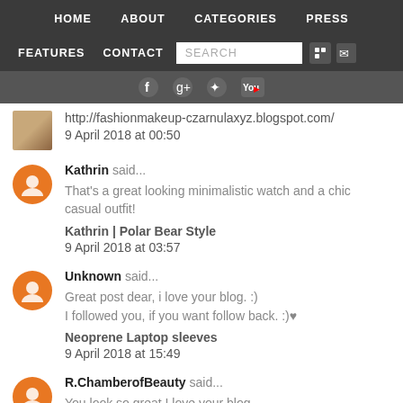HOME   ABOUT   CATEGORIES   PRESS
FEATURES   CONTACT   SEARCH
[Figure (screenshot): Social media icon bar with Facebook, Google+, Twitter, YouTube icons]
http://fashionmakeup-czarnulaxyz.blogspot.com/
9 April 2018 at 00:50
Kathrin said...
That's a great looking minimalistic watch and a chic casual outfit!
Kathrin | Polar Bear Style
9 April 2018 at 03:57
Unknown said...
Great post dear, i love your blog. :)
I followed you, if you want follow back. :)♥
Neoprene Laptop sleeves
9 April 2018 at 15:49
R.ChamberofBeauty said...
You look so great.I love your blog.